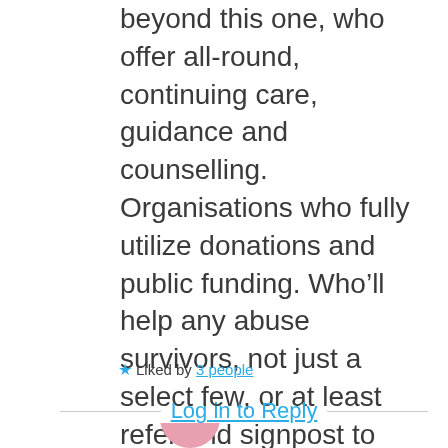beyond this one, who offer all-round, continuing care, guidance and counselling. Organisations who fully utilize donations and public funding. Who’ll help any abuse survivors, not just a select few, or at least refer and signpost to appropriate help. They also do far more, with far less funding (at least by the maths some Younique presenters throw around).
★ Liked by 3 people
Log in to Reply